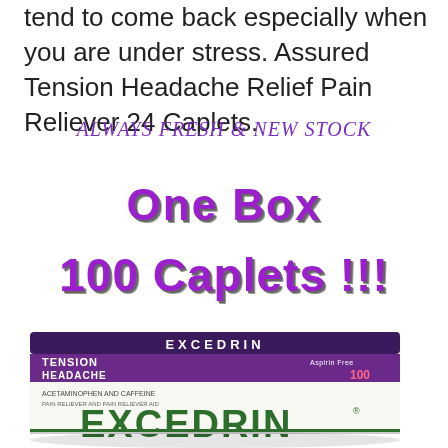tend to come back especially when you are under stress. Assured Tension Headache Relief Pain Reliever 24 Caplets.
ALWAYS FRESH & NEW STOCK
One Box 100 Caplets !!!
[Figure (photo): Excedrin Tension Headache product box, 100 caplets, showing the brand name EXCEDRIN in large green letters on the front of a white box with purple and dark accents.]